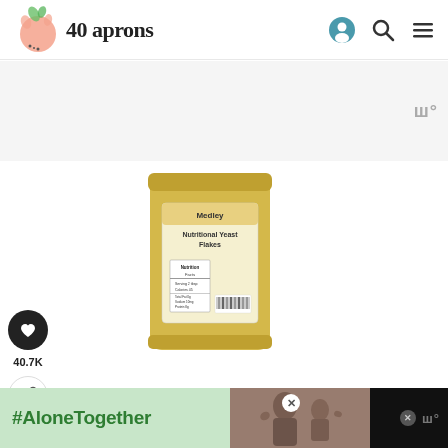40 aprons
[Figure (screenshot): Advertisement banner area - light gray background with 'W°' watermark logo on right side]
[Figure (photo): Product image: a bag of nutritional yeast flakes with yellow/golden contents, label visible on front]
40.7K
[Figure (screenshot): Bottom advertisement banner with dark background. Left portion shows light green (#AloneTogether) section, center shows photo of smiling man and child waving, with close X button. Right side shows 'W°' logo and another X button.]